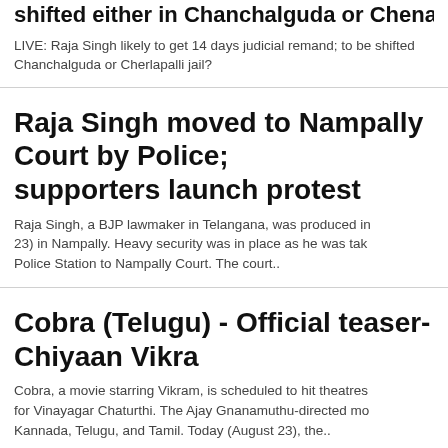shifted either in Chanchalguda or Chenapalii j...
LIVE: Raja Singh likely to get 14 days judicial remand; to be shifted Chanchalguda or Cherlapalli jail?
Raja Singh moved to Nampally Court by Police; supporters launch protest
Raja Singh, a BJP lawmaker in Telangana, was produced in (Aug 23) in Nampally. Heavy security was in place as he was taken from Police Station to Nampally Court. The court..
Cobra (Telugu) - Official teaser- Chiyaan Vikra...
Cobra, a movie starring Vikram, is scheduled to hit theatres for Vinayagar Chaturthi. The Ajay Gnanamuthu-directed movie releases in Kannada, Telugu, and Tamil. Today (August 23), the..